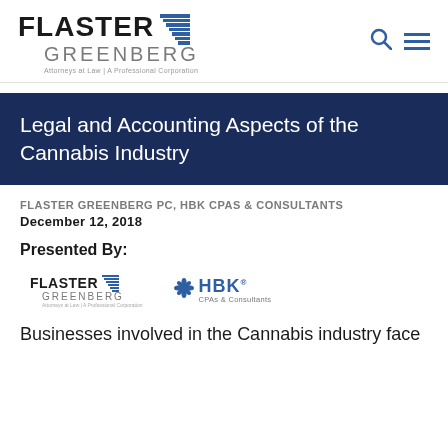[Figure (logo): Flaster Greenberg Attorneys at Law - A Professional Corporation logo with blue staircase graphic]
Legal and Accounting Aspects of the Cannabis Industry
FLASTER GREENBERG PC, HBK CPAS & CONSULTANTS
DECEMBER 12, 2018
Presented By:
[Figure (logo): Flaster Greenberg logo (small) and HBK CPAs & Consultants logo side by side]
Businesses involved in the Cannabis industry face